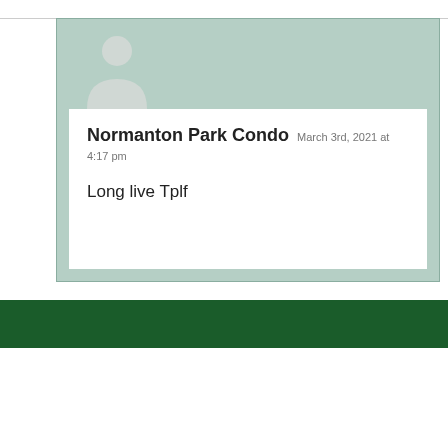[Figure (illustration): User avatar placeholder icon (silhouette of a person) on a sage green background]
Normanton Park Condo  March 3rd, 2021 at 4:17 pm

Long live Tplf
Bridgeblogging Bloggers
Othe Blog...
Aces on Bridge
Blog Archive
Ann... EC...